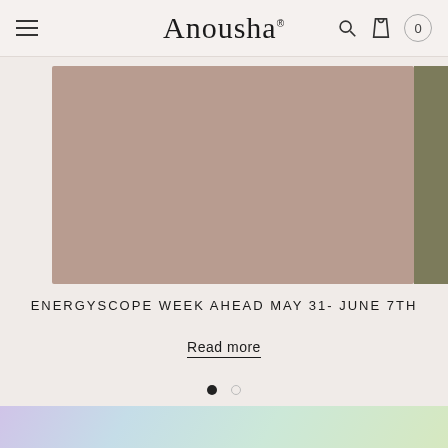Anousha — navigation header with hamburger menu, logo, search, bag, and cart count 0
[Figure (photo): Mauve/taupe colored rectangular image placeholder (blog post thumbnail) with a partial dark olive colored image visible on the right edge]
ENERGYSCOPE WEEK AHEAD MAY 31- JUNE 7TH
Read more
[Figure (other): Carousel pagination dots: one filled dark dot (active) and one outlined lighter dot (inactive)]
[Figure (other): Bottom decorative gradient bar with pastel colors: lavender, sky blue, mint, and light yellow-green]